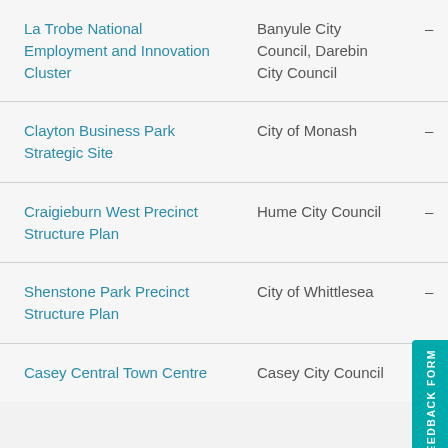| Project | Council/Agency |  | Status |
| --- | --- | --- | --- |
| La Trobe National Employment and Innovation Cluster | Banyule City Council, Darebin City Council | – | Complet… |
| Clayton Business Park Strategic Site | City of Monash | – | Complet… |
| Craigieburn West Precinct Structure Plan | Hume City Council | – | Complet… |
| Shenstone Park Precinct Structure Plan | City of Whittlesea | – | Comp… |
| Casey Central Town Centre | Casey City Council | – | Complet… |